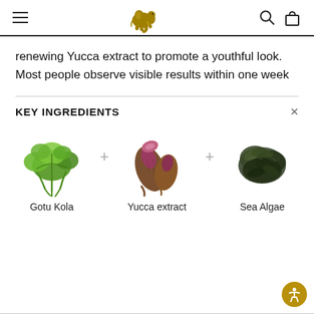Navigation bar with hamburger menu, elephant logo, search and bag icons
renewing Yucca extract to promote a youthful look. Most people observe visible results within one week
KEY INGREDIENTS
[Figure (photo): Three key ingredient photos: Gotu Kola (green leaves), Yucca extract (purple-tipped roots), Sea Algae (dark dried seaweed), each separated by a + symbol]
Gotu Kola
Yucca extract
Sea Algae